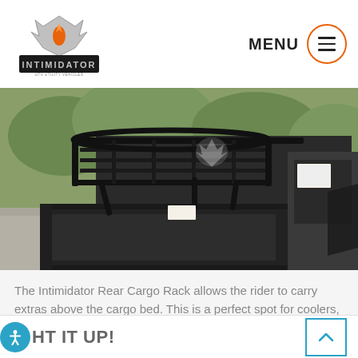Intimidator logo | MENU
[Figure (photo): Photograph of an Intimidator UTV with a black rear cargo rack mounted above the cargo bed, showing the open truck-style bed in the foreground and vegetation in the background.]
The Intimidator Rear Cargo Rack allows the rider to carry extras above the cargo bed. This is a perfect spot for coolers, life vests, fishing gear and more!
HIT IT UP!